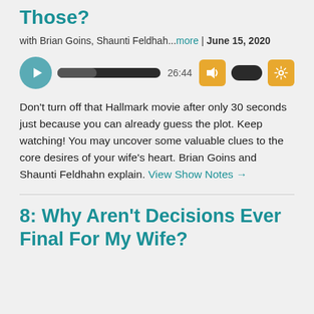Those?
with Brian Goins, Shaunti Feldhah...more | June 15, 2020
[Figure (other): Audio player with play button, progress bar, time 26:44, volume button, speed pill, and settings button]
Don't turn off that Hallmark movie after only 30 seconds just because you can already guess the plot. Keep watching! You may uncover some valuable clues to the core desires of your wife's heart. Brian Goins and Shaunti Feldhahn explain. View Show Notes →
8: Why Aren't Decisions Ever Final For My Wife?